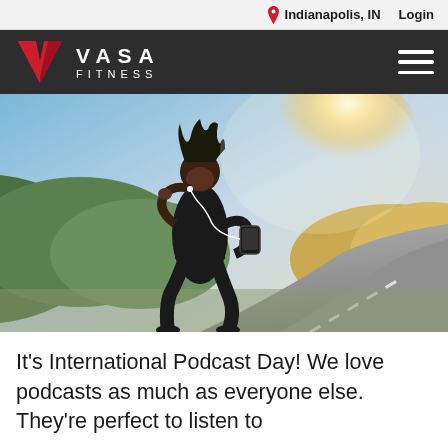Indianapolis, IN   Login
[Figure (logo): VASA FITNESS logo with red V chevron on dark background, hamburger menu icon on right]
[Figure (photo): Woman running outdoors on a road, wearing black athletic wear and earphones with phone armband, hair flying, sunny background with green hills]
It's International Podcast Day! We love podcasts as much as everyone else. They're perfect to listen to